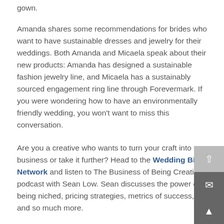gown.
Amanda shares some recommendations for brides who want to have sustainable dresses and jewelry for their weddings. Both Amanda and Micaela speak about their new products: Amanda has designed a sustainable fashion jewelry line, and Micaela has a sustainably sourced engagement ring line through Forevermark. If you were wondering how to have an environmentally friendly wedding, you won’t want to miss this conversation.
Are you a creative who wants to turn your craft into a business or take it further? Head to the Wedding Biz Network and listen to The Business of Being Creative podcast with Sean Low. Sean discusses the power of being niched, pricing strategies, metrics of success, and so much more.